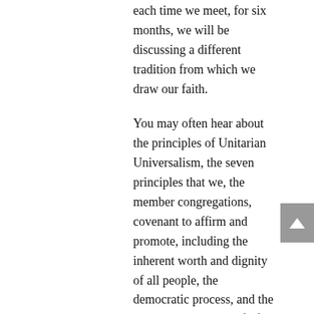each time we meet, for six months, we will be discussing a different tradition from which we draw our faith.
You may often hear about the principles of Unitarian Universalism, the seven principles that we, the member congregations, covenant to affirm and promote, including the inherent worth and dignity of all people, the democratic process, and the interconnected web of life of which we are all a part. You are less likely, perhaps, to hear about the sources of our faith, the taproots on which we build our theologies. This is unfortunate because religious pluralism is one of our biggest strengths as a religious body.
While the Unitarians and Universalists officially merged in 1961, the principles and sources were first adopted in 1960. Their